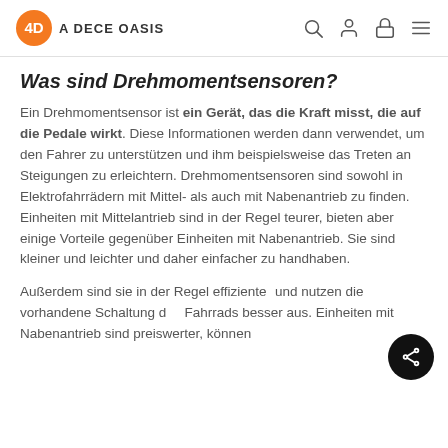A DECE OASIS
Was sind Drehmomentsensoren?
Ein Drehmomentsensor ist ein Gerät, das die Kraft misst, die auf die Pedale wirkt. Diese Informationen werden dann verwendet, um den Fahrer zu unterstützen und ihm beispielsweise das Treten an Steigungen zu erleichtern. Drehmomentsensoren sind sowohl in Elektrofahrrädern mit Mittel- als auch mit Nabenantrieb zu finden. Einheiten mit Mittelantrieb sind in der Regel teurer, bieten aber einige Vorteile gegenüber Einheiten mit Nabenantrieb. Sie sind kleiner und leichter und daher einfacher zu handhaben.
Außerdem sind sie in der Regel effizienter und nutzen die vorhandene Schaltung des Fahrrads besser aus. Einheiten mit Nabenantrieb sind preiswerter, können